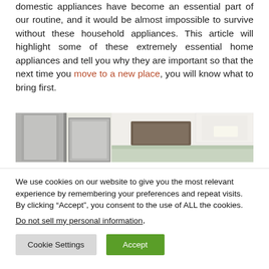domestic appliances have become an essential part of our routine, and it would be almost impossible to survive without these household appliances. This article will highlight some of these extremely essential home appliances and tell you why they are important so that the next time you move to a new place, you will know what to bring first.
[Figure (photo): Kitchen scene showing stainless steel appliances (tall refrigerator/containers) on the left and white kitchen cabinets with a range hood in the center-right.]
We use cookies on our website to give you the most relevant experience by remembering your preferences and repeat visits. By clicking “Accept”, you consent to the use of ALL the cookies.
Do not sell my personal information.